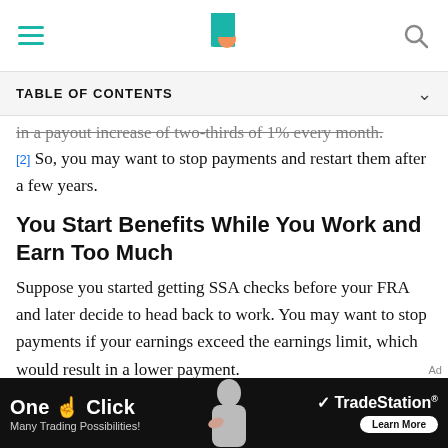Investopedia header with hamburger menu, logo, and search icon
TABLE OF CONTENTS
in a payout increase of two-thirds of 1% every month. [2] So, you may want to stop payments and restart them after a few years.
You Start Benefits While You Work and Earn Too Much
Suppose you started getting SSA checks before your FRA and later decide to head back to work. You may want to stop payments if your earnings exceed the earnings limit, which would result in a lower payment.
For instance, if you're under your FRA throughout 2021, the SSA will deduct $1 from your benefits for every $2
[Figure (screenshot): Advertisement banner for TradeStation: One Click - Many Trading Possibilities! with Learn More button]